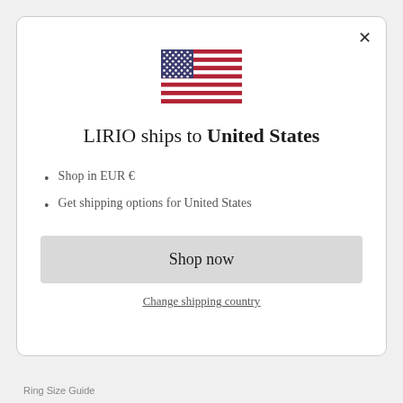[Figure (illustration): US flag SVG illustration]
LIRIO ships to United States
Shop in EUR €
Get shipping options for United States
Shop now
Change shipping country
Ring Size Guide